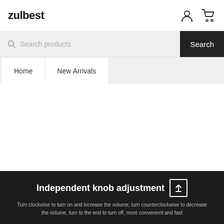zulbest
Search products
Search
Home
New Arrivals
Independent knob adjustment
Turn clockwise to turn on and increase the volume, turn counterclockwise to decrease the volume, turn to the end to turn off, more convenient and fast